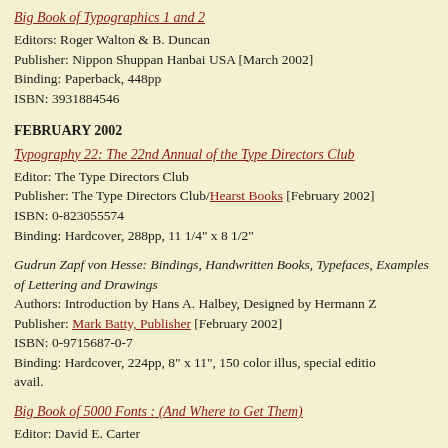Big Book of Typographics 1 and 2
Editors: Roger Walton & B. Duncan
Publisher: Nippon Shuppan Hanbai USA [March 2002]
Binding: Paperback, 448pp
ISBN: 3931884546
FEBRUARY 2002
Typography 22: The 22nd Annual of the Type Directors Club
Editor: The Type Directors Club
Publisher: The Type Directors Club/Hearst Books [February 2002]
ISBN: 0-823055574
Binding: Hardcover, 288pp, 11 1/4" x 8 1/2"
Gudrun Zapf von Hesse: Bindings, Handwritten Books, Typefaces, Examples of Lettering and Drawings
Authors: Introduction by Hans A. Halbey, Designed by Hermann Z
Publisher: Mark Batty, Publisher [February 2002]
ISBN: 0-9715687-0-7
Binding: Hardcover, 224pp, 8" x 11", 150 color illus, special edition avail.
Big Book of 5000 Fonts : (And Where to Get Them)
Editor: David E. Carter
Publisher: Watson-Guptill Publications [February 2002]